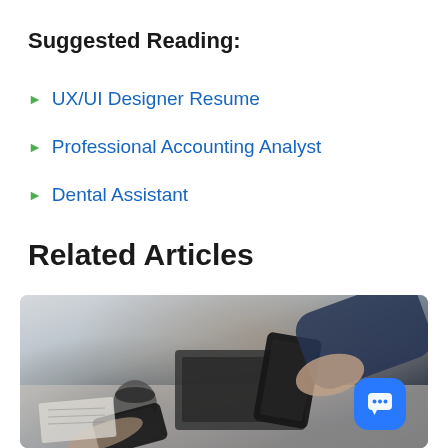Suggested Reading:
UX/UI Designer Resume
Professional Accounting Analyst
Dental Assistant
Related Articles
[Figure (photo): Two people at a table exchanging or looking at smartphones, with a notebook, coffee cup, and documents visible on the table. Business meeting context.]